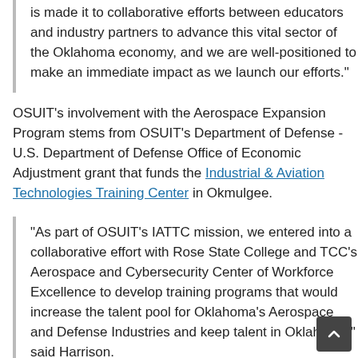is made it to collaborative efforts between educators and industry partners to advance this vital sector of the Oklahoma economy, and we are well-positioned to make an immediate impact as we launch our efforts."
OSUIT's involvement with the Aerospace Expansion Program stems from OSUIT's Department of Defense - U.S. Department of Defense Office of Economic Adjustment grant that funds the Industrial & Aviation Technologies Training Center in Okmulgee.
"As part of OSUIT's IATTC mission, we entered into a collaborative effort with Rose State College and TCC's Aerospace and Cybersecurity Center of Workforce Excellence to develop training programs that would increase the talent pool for Oklahoma's Aerospace and Defense Industries and keep talent in Oklahoma," said Harrison.